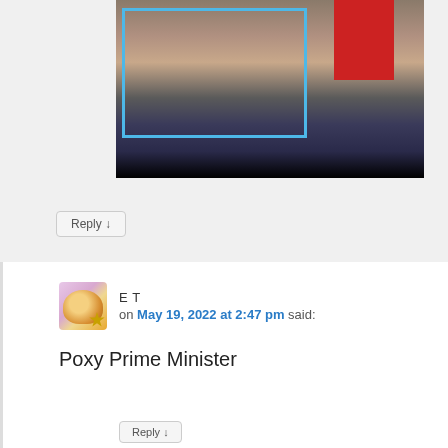[Figure (photo): Cropped photo of a man with beard in dark suit against a red and dark background, with a blue border overlay on the left portion. Another person in dark suit visible at right edge.]
Reply ↓
E T
on May 19, 2022 at 2:47 pm said:
Poxy Prime Minister
Reply ↓